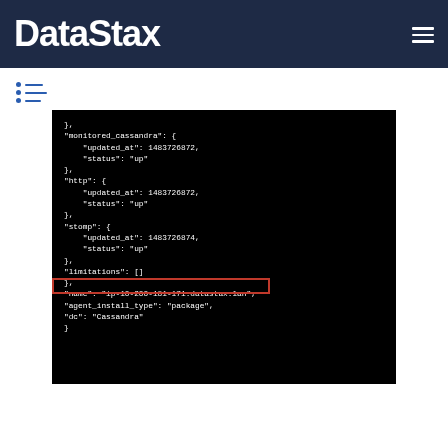DataStax
[Figure (screenshot): A black terminal/code block showing JSON output with fields: monitored_cassandra (updated_at: 1483726872, status: up), http (updated_at: 1483726872, status: up), stomp (updated_at: 1483726874, status: up), limitations: [], name: ip-10-200-181-171.datastax.lan, agent_install_type: package (highlighted in red box), dc: Cassandra]